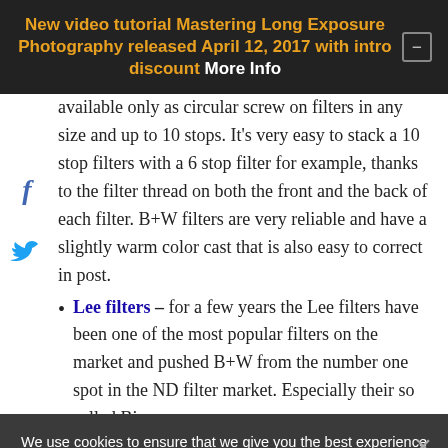New video tutorial Mastering Long Exposure Photography released April 12, 2017 with intro discount More Info
available only as circular screw on filters in any size and up to 10 stops. It's very easy to stack a 10 stop filters with a 6 stop filter for example, thanks to the filter thread on both the front and the back of each filter. B+W filters are very reliable and have a slightly warm color cast that is also easy to correct in post.
Lee filters – for a few years the Lee filters have been one of the most popular filters on the market and pushed B+W from the number one spot in the ND filter market. Especially their so called Big
We use cookies to ensure that we give you the best experience on our website. If you continue to use this site we will assume that you are happy with it.